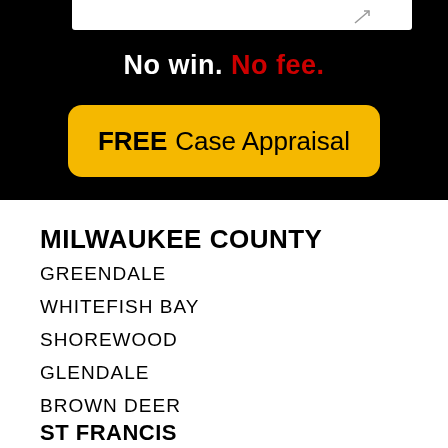[Figure (infographic): Black background advertisement banner with 'No win. No fee.' text in white and red, and a yellow rounded button with 'FREE Case Appraisal' text]
MILWAUKEE COUNTY
GREENDALE
WHITEFISH BAY
SHOREWOOD
GLENDALE
BROWN DEER
ST FRANCIS